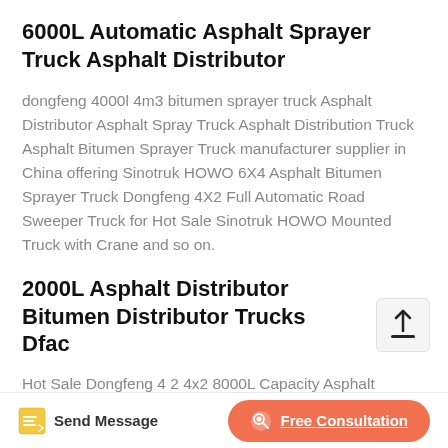6000L Automatic Asphalt Sprayer Truck Asphalt Distributor
dongfeng 4000l 4m3 bitumen sprayer truck Asphalt Distributor Asphalt Spray Truck Asphalt Distribution Truck Asphalt Bitumen Sprayer Truck manufacturer supplier in China offering Sinotruk HOWO 6X4 Asphalt Bitumen Sprayer Truck Dongfeng 4X2 Full Automatic Road Sweeper Truck for Hot Sale Sinotruk HOWO Mounted Truck with Crane and so on.
2000L Asphalt Distributor Bitumen Distributor Trucks Dfac
Hot Sale Dongfeng 4 2 4x2 8000L Capacity Asphalt Dongfeng 4X2 190Hp Asphalt Distributor Truck China 3
Send Message
Free Consultation